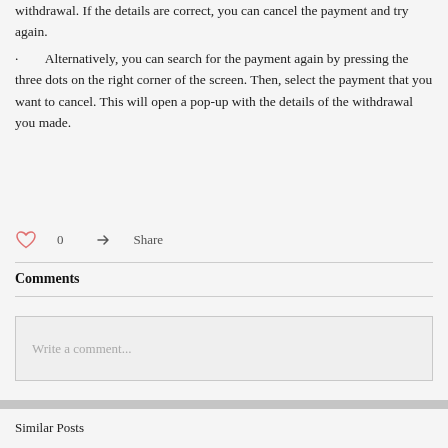withdrawal. If the details are correct, you can cancel the payment and try again.
·        Alternatively, you can search for the payment again by pressing the three dots on the right corner of the screen. Then, select the payment that you want to cancel. This will open a pop-up with the details of the withdrawal you made.
0  Share
Comments
Write a comment...
Similar Posts